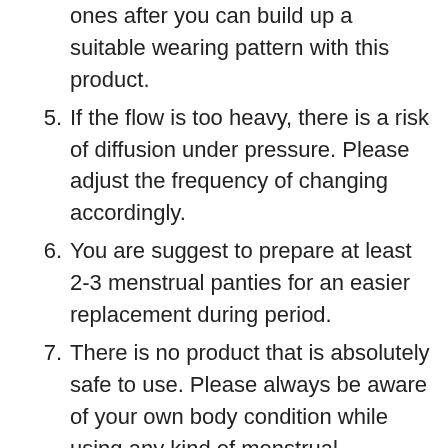ones after you can build up a suitable wearing pattern with this product.
5. If the flow is too heavy, there is a risk of diffusion under pressure. Please adjust the frequency of changing accordingly.
6. You are suggest to prepare at least 2-3 menstrual panties for an easier replacement during period.
7. There is no product that is absolutely safe to use. Please always be aware of your own body condition while using any kind of menstrual products. If you experience a sudden change in smell or texture and colour of your discharge/cervical fluid, vaginal itch or irritation, high fever, diarrhea, vomiting, fainting, rash or any